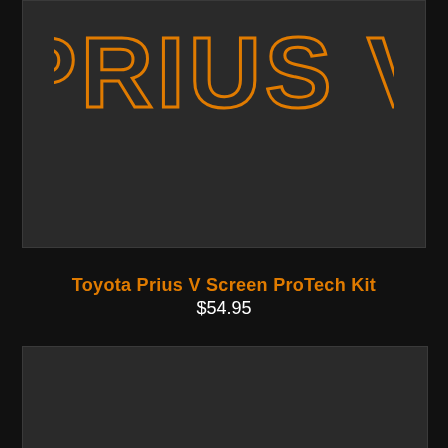[Figure (other): Dark gray product image block with large orange outlined text reading 'PRIUS V' in a bold stencil/outline font style.]
Toyota Prius V Screen ProTech Kit
$54.95
[Figure (other): Dark gray product image block, lower portion of a product listing page.]